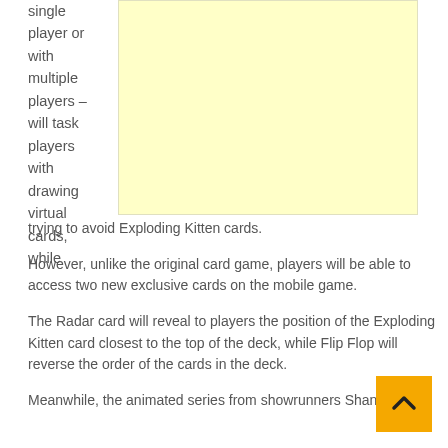single player or with multiple players – will task players with drawing virtual cards, while trying to avoid Exploding Kitten cards.
[Figure (other): Yellow advertisement placeholder box]
However, unlike the original card game, players will be able to access two new exclusive cards on the mobile game.
The Radar card will reveal to players the position of the Exploding Kitten card closest to the top of the deck, while Flip Flop will reverse the order of the cards in the deck.
Meanwhile, the animated series from showrunners Shane